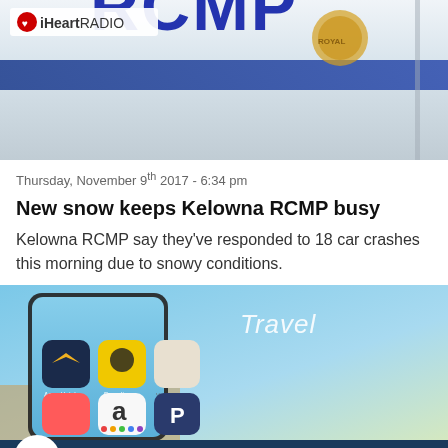[Figure (photo): RCMP police vehicle door showing RCMP logo and lettering in blue, with iHeartRadio logo overlay in top-left corner]
Thursday, November 9th 2017 - 6:34 pm
New snow keeps Kelowna RCMP busy
Kelowna RCMP say they've responded to 18 car crashes this morning due to snowy conditions.
[Figure (photo): Smartphone screen showing travel apps including AccorHotels, Expedia, Venere.com and others, with 'Travel' text visible]
The Late Showgram
Listen Live
More >